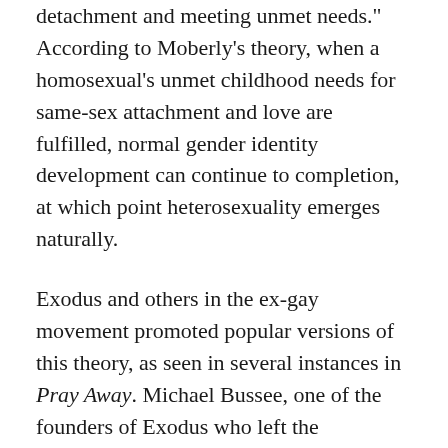detachment and meeting unmet needs." According to Moberly's theory, when a homosexual's unmet childhood needs for same-sex attachment and love are fulfilled, normal gender identity development can continue to completion, at which point heterosexuality emerges naturally.
Exodus and others in the ex-gay movement promoted popular versions of this theory, as seen in several instances in Pray Away. Michael Bussee, one of the founders of Exodus who left the organization in 1979, reflects, "We believed that homosexuality is a psychological illness that you needed treatment for... In conversion therapy, the explanation for why you are gay is that you must have been traumatized as a child. Either by direct abuse, sexual molestation, physical abuse by parents, or by inadequate or toxic parenting.